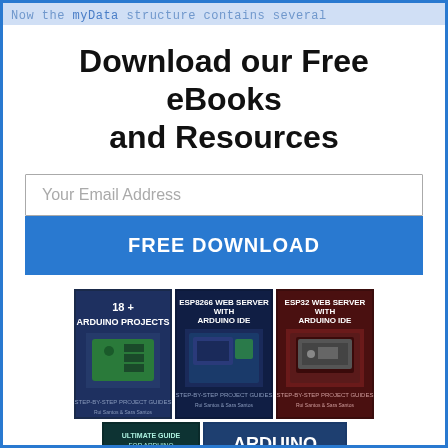Now the myData structure contains several
Download our Free eBooks and Resources
Your Email Address
FREE DOWNLOAD
[Figure (illustration): Three book covers: '18+ Arduino Projects', 'ESP8266 Web Server with Arduino IDE', 'ESP32 Web Server with Arduino IDE', plus 'Ultimate Guide for Arduino Shields/Modules' and 'Arduino Mini Course']